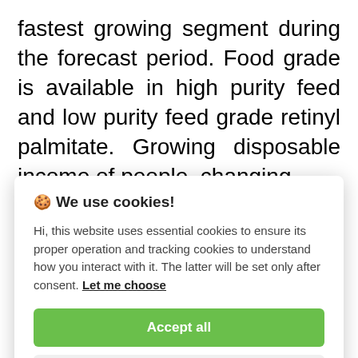fastest growing segment during the forecast period. Food grade is available in high purity feed and low purity feed grade retinyl palmitate. Growing disposable income of people, changing
[Figure (screenshot): Cookie consent dialog box with title 'We use cookies!', body text explaining essential and tracking cookies, a 'Let me choose' link, an 'Accept all' green button, and a 'Reject all' grey button.]
increased susceptibility to infections,